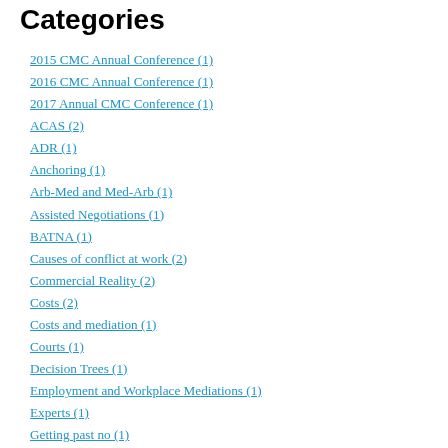Categories
2015 CMC Annual Conference (1)
2016 CMC Annual Conference (1)
2017 Annual CMC Conference (1)
ACAS (2)
ADR (1)
Anchoring (1)
Arb-Med and Med-Arb (1)
Assisted Negotiations (1)
BATNA (1)
Causes of conflict at work (2)
Commercial Reality (2)
Costs (2)
Costs and mediation (1)
Courts (1)
Decision Trees (1)
Employment and Workplace Mediations (1)
Experts (1)
Getting past no (1)
Harvard (2)
ICC 2019 (1)
ICCMW2020 (1)
INADR (3)
Ireland's Mediation Act 2017 (1)
London Mediators Day 2018 (1)
Mediation Awareness Week 2018 (1)
Mediation Venue (1)
MIT Course (1)
MLATNA (1)